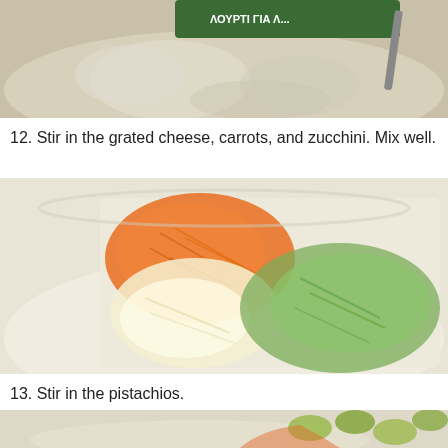[Figure (photo): Top portion of a bowl with batter mixture and a green yogurt container visible, with a spoon stirring.]
12. Stir in the grated cheese, carrots, and zucchini. Mix well.
[Figure (photo): A white bowl containing grated carrots (orange), grated cheese (white/yellow), and grated zucchini (green) not yet mixed together.]
13. Stir in the pistachios.
[Figure (photo): Partial view of a bowl with pistachios being stirred into the mixture.]